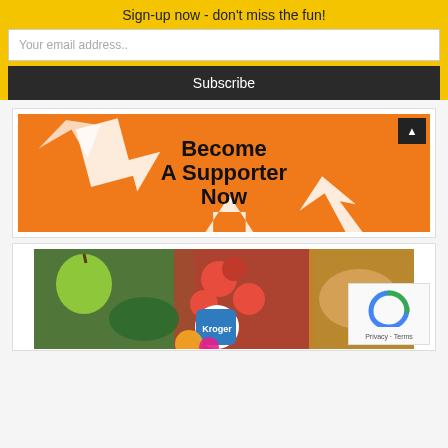Sign-up now - don't miss the fun!
Your email address..
Subscribe
[Figure (infographic): Orange banner with text 'Become A Supporter Now' and white arrow decorations, with a dark up-arrow button in top right]
[Figure (photo): Photo of fresh vegetables and food items including green apple, tomatoes, lettuce, bread, with Kroger logo overlay and colorful circular graphic]
Privacy · Terms